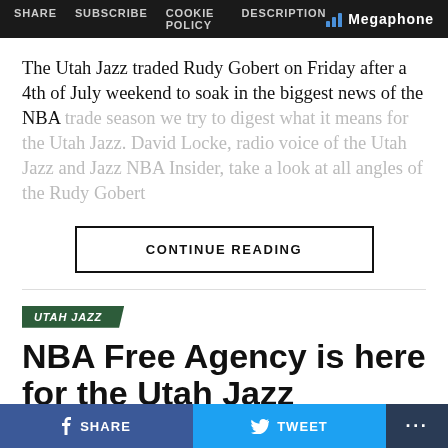SHARE  SUBSCRIBE  COOKIE POLICY  DESCRIPTION  Megaphone
The Utah Jazz traded Rudy Gobert on Friday after a 4th of July weekend to soak in the biggest news of the NBA trade season we try to digest what it means for the Utah Jazz. David Locke, radio voice of the Utah Jazz and Jazz NBA Insider, take a look at all angles of the Rudy Gobert
CONTINUE READING
UTAH JAZZ
NBA Free Agency is here for the Utah Jazz
Published 2 months ago on: June 30, 2022
SHARE  TWEET  ...